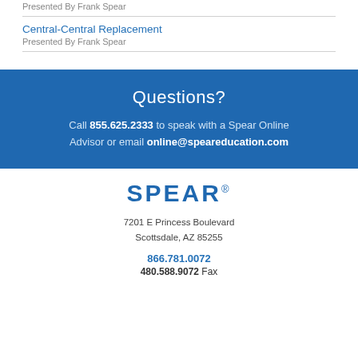Presented By Frank Spear
Central-Central Replacement
Presented By Frank Spear
Questions?
Call 855.625.2333 to speak with a Spear Online Advisor or email online@speareducation.com
[Figure (logo): SPEAR logo in blue bold text with registered trademark symbol]
7201 E Princess Boulevard
Scottsdale, AZ 85255
866.781.0072
480.588.9072 Fax